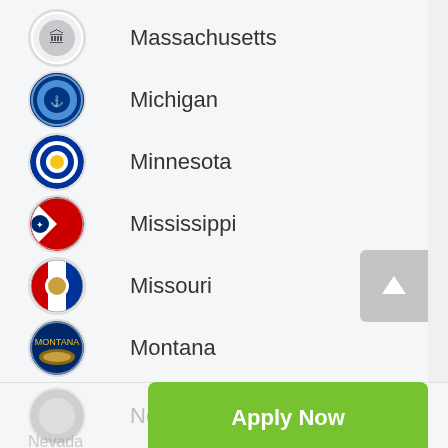Massachusetts
Michigan
Minnesota
Mississippi
Missouri
Montana
Nebraska
Nevada
Apply Now
Applying does NOT affect your credit score! No credit check to apply.